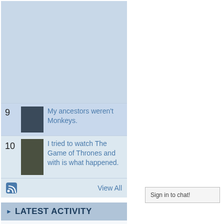[Figure (other): Light blue placeholder/advertisement area]
9  My ancestors weren't Monkeys.
10  I tried to watch The Game of Thrones and with is what happened.
View All
LATEST ACTIVITY
Groups News · Everything
Sign in to chat!